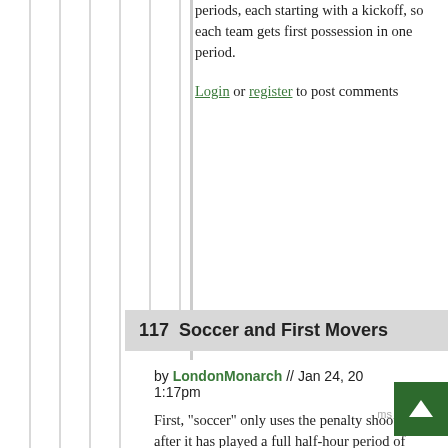periods, each starting with a kickoff, so each team gets first possession in one period.
Login or register to post comments
117  Soccer and First Movers
by LondonMonarch // Jan 24, 2008 1:17pm
First, "soccer" only uses the penalty shoot-out after it has played a full half-hour period of overtime ("extra